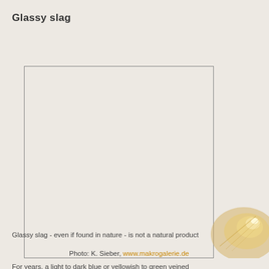Glassy slag
[Figure (photo): Large empty photo placeholder box with border, showing glassy slag specimen. Decorative mineral/shell image visible at bottom right corner of page.]
Glassy slag - even if found in nature - is not a natural product
Photo: K. Sieber, www.makrogalerie.de
For years, a light to dark blue or yellowish to green veined